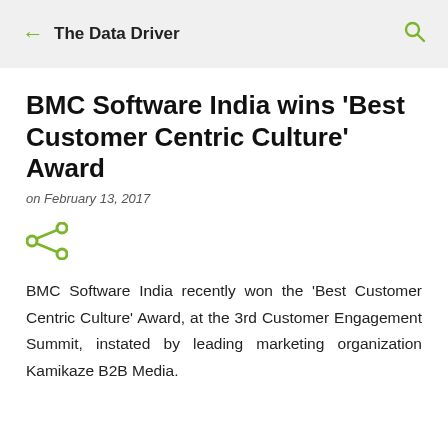← The Data Driver
BMC Software India wins ‘Best Customer Centric Culture’ Award
on February 13, 2017
[Figure (other): Share icon (green)]
BMC Software India recently won the ‘Best Customer Centric Culture’ Award, at the 3rd Customer Engagement Summit, instated by leading marketing organization Kamikaze B2B Media.